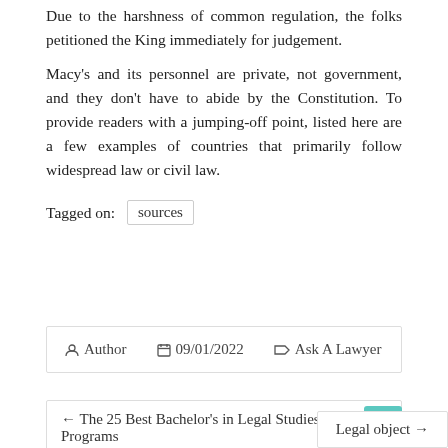Due to the harshness of common regulation, the folks petitioned the King immediately for judgement.
Macy's and its personnel are private, not government, and they don't have to abide by the Constitution. To provide readers with a jumping-off point, listed here are a few examples of countries that primarily follow widespread law or civil law.
Tagged on: sources
Author  09/01/2022  Ask A Lawyer
← The 25 Best Bachelor's in Legal Studies Degree Programs
Legal object →